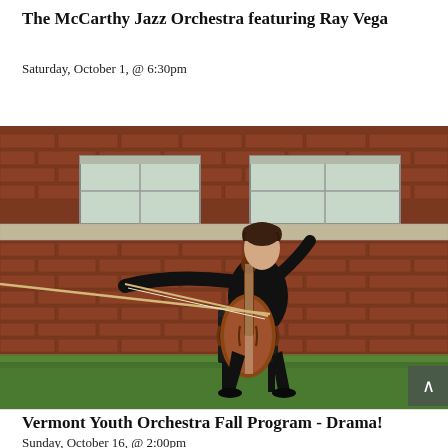The McCarthy Jazz Orchestra featuring Ray Vega
Saturday, October 1, @ 6:30pm
[Figure (photo): A young man in a black suit playing cello outdoors, seated on a chair in front of a red brick building wall with windows visible at the top. He is bowing the cello with his right arm extended, set on a green grass area.]
Vermont Youth Orchestra Fall Program - Drama!
Sunday, October 16, @ 2:00pm